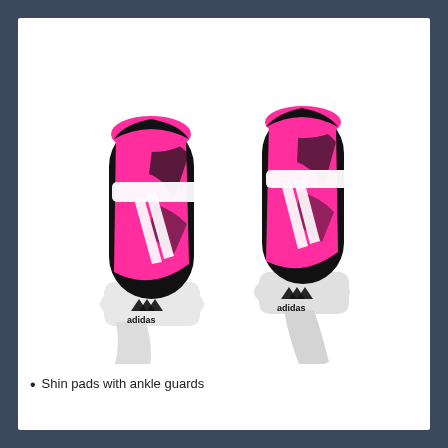[Figure (photo): Product photo of a pair of Adidas shin pads with ankle guards. The shin guards are pink, black, and white with the Adidas logo and three white diagonal stripes. Each shin guard has a white ankle guard/strap attached at the bottom.]
Shin pads with ankle guards